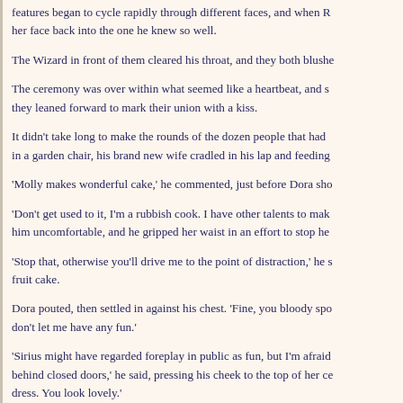features began to cycle rapidly through different faces, and when R her face back into the one he knew so well.
The Wizard in front of them cleared his throat, and they both blushe
The ceremony was over within what seemed like a heartbeat, and s they leaned forward to mark their union with a kiss.
It didn't take long to make the rounds of the dozen people that had in a garden chair, his brand new wife cradled in his lap and feeding
'Molly makes wonderful cake,' he commented, just before Dora sho
'Don't get used to it, I'm a rubbish cook. I have other talents to mak him uncomfortable, and he gripped her waist in an effort to stop he
'Stop that, otherwise you'll drive me to the point of distraction,' he s fruit cake.
Dora pouted, then settled in against his chest. 'Fine, you bloody spo don't let me have any fun.'
'Sirius might have regarded foreplay in public as fun, but I'm afraid behind closed doors,' he said, pressing his cheek to the top of her ce dress. You look lovely.'